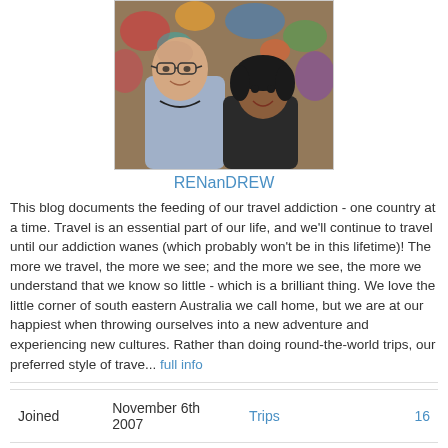[Figure (photo): Photo of two people (a tall bald man with glasses and a shorter woman with dark hair) smiling together, with a colorful mural or artwork in the background.]
RENanDREW
This blog documents the feeding of our travel addiction - one country at a time. Travel is an essential part of our life, and we'll continue to travel until our addiction wanes (which probably won't be in this lifetime)! The more we travel, the more we see; and the more we see, the more we understand that we know so little - which is a brilliant thing. We love the little corner of south eastern Australia we call home, but we are at our happiest when throwing ourselves into a new adventure and experiencing new cultures. Rather than doing round-the-world trips, our preferred style of trave... full info
|  |  |  |  |
| --- | --- | --- | --- |
| Joined | November 6th 2007 | Trips | 16 |
| Last Login | August 31st 2022 | Followers | 107 |